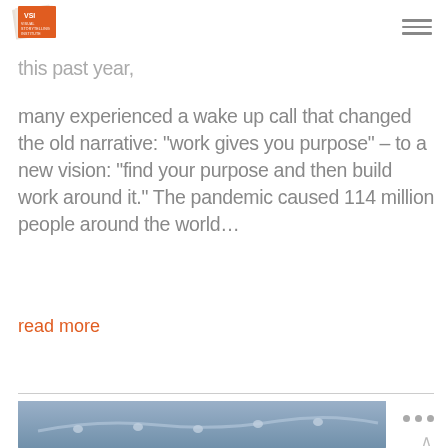VSI Visual Storytelling Institute
Did you know that your personal fulfillment directly connects to your true purposes? During this past year, many experienced a wake up call that changed the old narrative: “work gives you purpose” – to a new vision: “find your purpose and then build work around it.” The pandemic caused 114 million people around the world…
read more
[Figure (photo): A blue-toned image showing what appears to be a chain or rope barrier on water, with a blurred oceanic background.]